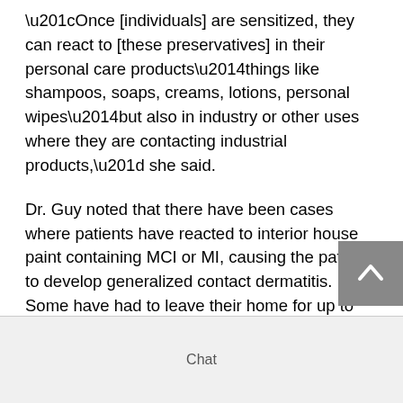“Once [individuals] are sensitized, they can react to [these preservatives] in their personal care products—things like shampoos, soaps, creams, lotions, personal wipes—but also in industry or other uses where they are contacting industrial products,” she said.
Dr. Guy noted that there have been cases where patients have reacted to interior house paint containing MCI or MI, causing the patient to develop generalized contact dermatitis. Some have had to leave their home for up to six months while the preservatives offgassed from the paint.
Chat